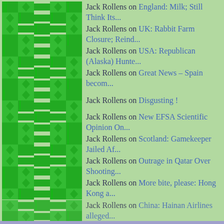Jack Rollens on England: Milk; Still Think Its...
Jack Rollens on UK: Rabbit Farm Closure; Reind...
Jack Rollens on USA: Republican (Alaska) Hunte...
Jack Rollens on Great News – Spain becom...
Jack Rollens on Disgusting !
Jack Rollens on New EFSA Scientific Opinion On...
Jack Rollens on Scotland: Gamekeeper Jailed Af...
Jack Rollens on Outrage in Qatar Over Shooting...
Jack Rollens on More bite, please: Hong Kong a...
Jack Rollens on China: Hainan Airlines alleged...